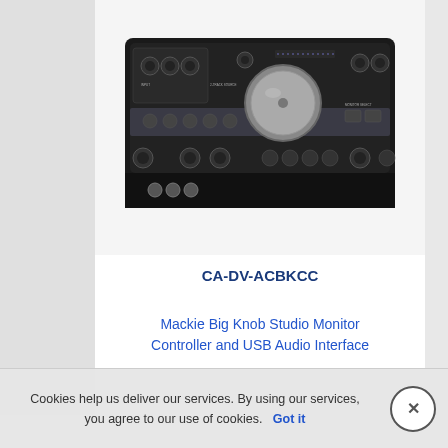[Figure (photo): Mackie Big Knob Studio Monitor Controller and USB Audio Interface device photo showing top view of black audio hardware unit with knobs, buttons, and a large central monitor volume knob]
CA-DV-ACBKCC
Mackie Big Knob Studio Monitor Controller and USB Audio Interface
Cookies help us deliver our services. By using our services, you agree to our use of cookies. Got it